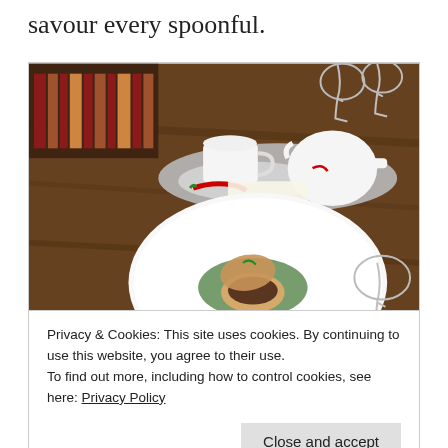savour every spoonful.
[Figure (photo): A restaurant table with a white plate containing a small dish with green sauce and a garnish, and in the background a teacup, saucer with a red chili pepper, and a white teapot on a tray, with wine glasses visible on the wooden table.]
Privacy & Cookies: This site uses cookies. By continuing to use this website, you agree to their use.
To find out more, including how to control cookies, see here: Privacy Policy
I would definitely return to Makolo 4 on a future visit